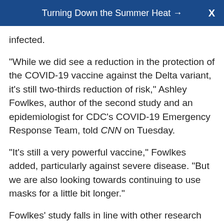Turning Down the Summer Heat →  X
infected.
"While we did see a reduction in the protection of the COVID-19 vaccine against the Delta variant, it's still two-thirds reduction of risk," Ashley Fowlkes, author of the second study and an epidemiologist for CDC's COVID-19 Emergency Response Team, told CNN on Tuesday.
"It's still a very powerful vaccine," Fowlkes added, particularly against severe disease. "But we are also looking towards continuing to use masks for a little bit longer."
Fowlkes' study falls in line with other research from around the world that illustrates Delta's increased tendency to cause largely minor infections among fully vaccinated people.